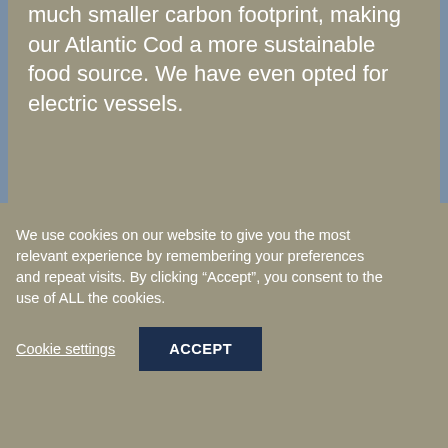much smaller carbon footprint, making our Atlantic Cod a more sustainable food source. We have even opted for electric vessels.
[Figure (photo): A second content card/image placeholder area below the text card, with a muted olive/gray background.]
We use cookies on our website to give you the most relevant experience by remembering your preferences and repeat visits. By clicking “Accept”, you consent to the use of ALL the cookies.
Cookie settings
ACCEPT